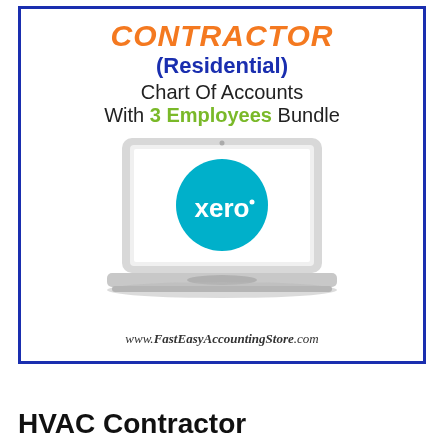CONTRACTOR (Residential) Chart Of Accounts With 3 Employees Bundle
[Figure (illustration): Laptop computer displaying the Xero accounting software logo (teal circle with white 'xero' text) on screen]
www.FastEasyAccountingStore.com
HVAC Contractor